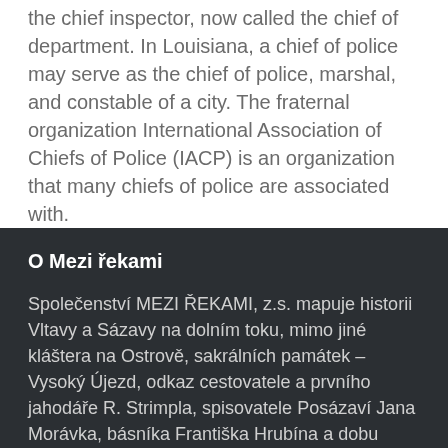the chief inspector, now called the chief of department. In Louisiana, a chief of police may serve as the chief of police, marshal, and constable of a city. The fraternal organization International Association of Chiefs of Police (IACP) is an organization that many chiefs of police are associated with.
O Mezi řekami
Společenství MEZI ŘEKAMI, z.s. mapuje historii Vltavy a Sázavy na dolním toku, mimo jiné kláštera na Ostrově, sakrálních památek – Vysoký Újezd, odkaz cestovatele a prvního jahodáře R. Strimpla, spisovatele Posázaví Jana Morávka, básníka Františka Hrubína a dobu vystěhování